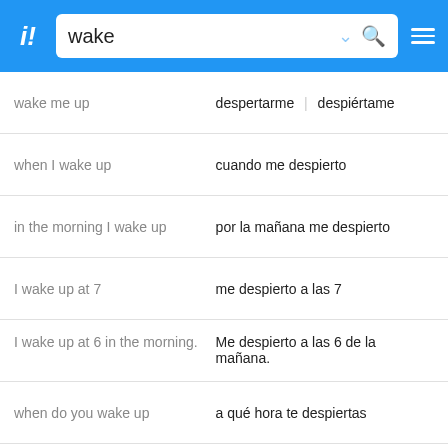[Figure (screenshot): Blue app header with logo 'i!', search box containing 'wake', dropdown arrow, search icon, and hamburger menu icon]
| English | Spanish |
| --- | --- |
| wake me up | despertarme | despiértame |
| when I wake up | cuando me despierto |
| in the morning I wake up | por la mañana me despierto |
| I wake up at 7 | me despierto a las 7 |
| I wake up at 6 in the morning. | Me despierto a las 6 de la mañana. |
| when do you wake up | a qué hora te despiertas |
✈ Translate on the go!
[Figure (screenshot): Advertisement banner: 'Lectura de la palma de la Mano' with subtitle 'El Nuevo Renacer Es Hoy, Brujos, Espiriti' and a blue diamond logo]